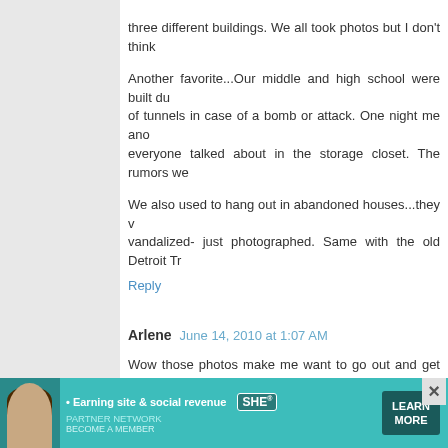three different buildings. We all took photos but I don't think
Another favorite...Our middle and high school were built during the Cold War, complete with a system of tunnels in case of a bomb or attack. One night me and some friends snuck in to visit what everyone talked about in the storage closet. The rumors were...
We also used to hang out in abandoned houses...they were never vandalized- just photographed. Same with the old Detroit Tr
Reply
Arlene  June 14, 2010 at 1:07 AM
Wow those photos make me want to go out and get some! I know my husband would claim amnesia to ever knowing me
Reply
Ana Kappa  June 14, 2010 at 1:33 AM
I second BrerMatt's motion for the River Country photos (h... LOT of them, especially considering they trespassed on D... which I just discovered.
Also, Kirkbride Buildings, which is about a bunch of ... college in Northampton, MA and the old Northampto
[Figure (infographic): Advertisement banner for SHE Partner Network with woman photo, tagline 'Earning site & social revenue', SHE logo, and LEARN MORE button]